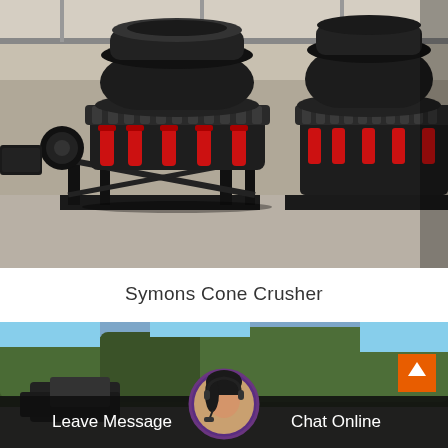[Figure (photo): Industrial warehouse showing multiple Symons Cone Crushers in a row — large black heavy machinery with red hydraulic cylinders, mounted on black steel frames, in a factory setting with concrete floor.]
Symons Cone Crusher
[Figure (screenshot): Mobile web page screenshot showing bottom section: outdoor/construction site photo with trees and machinery in background, an orange up-arrow button in the top-right, a circular avatar of a female customer service agent wearing a headset, and a dark semi-transparent chat bar at the bottom with 'Leave Message' on the left and 'Chat Online' on the right.]